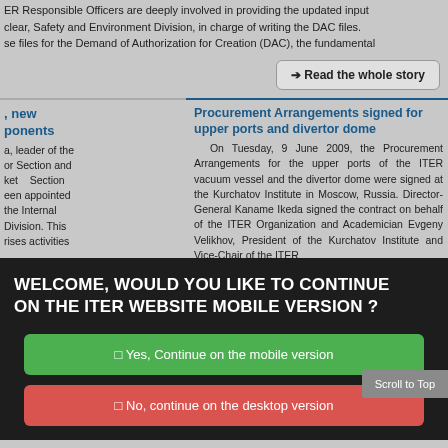ER Responsible Officers are deeply involved in providing the updated input clear, Safety and Environment Division, in charge of writing the DAC files. se files for the Demand of Authorization for Creation (DAC), the fundamental
→ Read the whole story
, new ponents
a, leader of the or Section and ket Section een appointed the Internal Division. This rises activities
Procurement Arrangements signed for upper ports and divertor dome
On Tuesday, 9 June 2009, the Procurement Arrangements for the upper ports of the ITER vacuum vessel and the divertor dome were signed at the Kurchatov Institute in Moscow, Russia. Director-General Kaname Ikeda signed the contract on behalf of the ITER Organization and Academician Evgeny Velikhov, President of the Kurchatov Institute and Vice-Chair of the ITER
WELCOME, WOULD YOU LIKE TO CONTINUE ON THE ITER WEBSITE MOBILE VERSION ?
□ Yes, Continue on the mobile version
□ No, continue on the desktop version
Scroll to Top